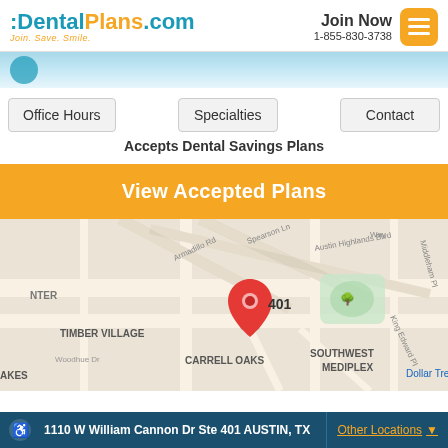DentalPlans.com Join. Save. Smile. | Join Now 1-855-830-3738
[Figure (screenshot): Light blue decorative strip with partial blue circle icon]
Office Hours
Specialties
Contact
Accepts Dental Savings Plans
View Accepted Plans
[Figure (map): Google Maps screenshot showing location at 1110 W William Cannon Dr Ste 401 Austin TX, with red map pin labeled 401. Neighborhoods visible: Timber Village, Carrell Oaks, Southwest Mediplex. Streets: Spearson Ln, Armadillo Rd, Austin Highlands Blvd, Woodhue Dr, King Edward Pl, Middleham Pl.]
1110 W William Cannon Dr Ste 401 AUSTIN, TX | Other Locations